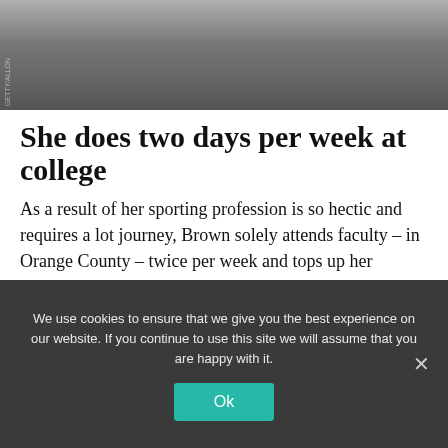[Figure (photo): Photo of a person with a skateboard, sitting outdoors. Watermark text on left side.]
She does two days per week at college
As a result of her sporting profession is so hectic and requires a lot journey, Brown solely attends faculty – in Orange County – twice per week and tops up her studying on-line.
Her typical day additionally consists of three hours' skating at varied parks in Oceanside.
We use cookies to ensure that we give you the best experience on our website. If you continue to use this site we will assume that you are happy with it.